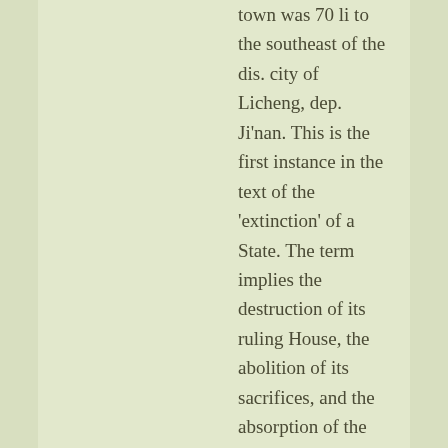town was 70 li to the southeast of the dis. city of Licheng, dep. Ji'nan. This is the first instance in the text of the 'extinction' of a State. The term implies the destruction of its ruling House, the abolition of its sacrifices, and the absorption of the people and territory by the prevailing Power. The Zhuan says:—'When the marquis of Qi [i.e., the present marquis] fled from the State [see the text...